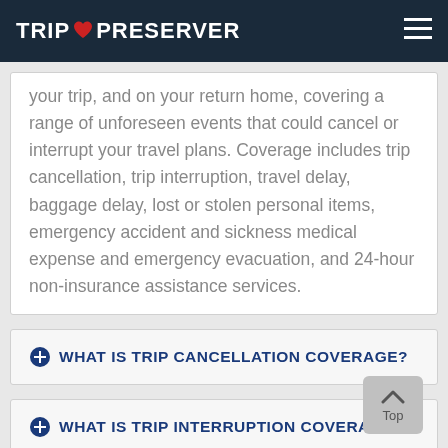TRIP PRESERVER
your trip, and on your return home, covering a range of unforeseen events that could cancel or interrupt your travel plans. Coverage includes trip cancellation, trip interruption, travel delay, baggage delay, lost or stolen personal items, emergency accident and sickness medical expense and emergency evacuation, and 24-hour non-insurance assistance services.
WHAT IS TRIP CANCELLATION COVERAGE?
WHAT IS TRIP INTERRUPTION COVERAGE?